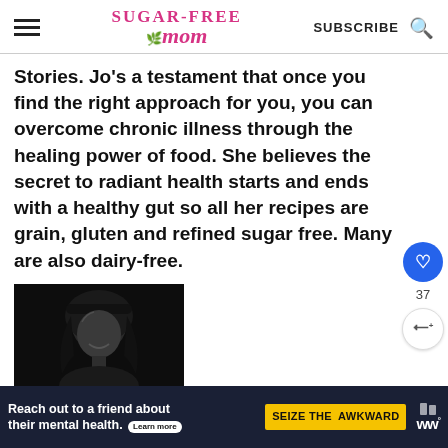Sugar-Free Mom — SUBSCRIBE
Stories. Jo's a testament that once you find the right approach for you, you can overcome chronic illness through the healing power of food. She believes the secret to radiant health starts and ends with a healthy gut so all her recipes are grain, gluten and refined sugar free. Many are also dairy-free.
[Figure (photo): Black and white portrait photo of a woman with long hair wearing a cap, smiling]
[Figure (other): Advertisement banner: 'Reach out to a friend about their mental health. Learn more' with 'SEIZE THE AWKWARD' yellow button and media logos]